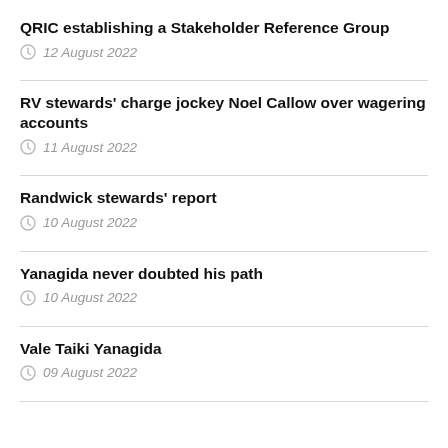QRIC establishing a Stakeholder Reference Group
12 August 2022
RV stewards' charge jockey Noel Callow over wagering accounts
11 August 2022
Randwick stewards' report
10 August 2022
Yanagida never doubted his path
10 August 2022
Vale Taiki Yanagida
09 August 2022